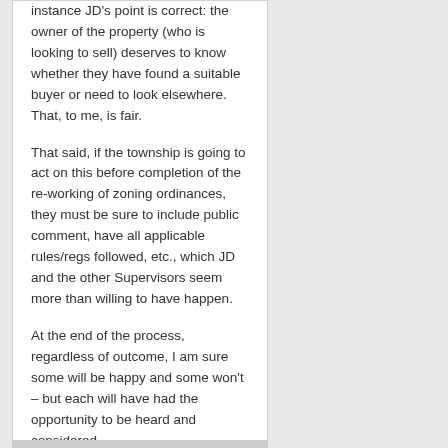instance JD's point is correct: the owner of the property (who is looking to sell) deserves to know whether they have found a suitable buyer or need to look elsewhere. That, to me, is fair.
That said, if the township is going to act on this before completion of the re-working of zoning ordinances, they must be sure to include public comment, have all applicable rules/regs followed, etc., which JD and the other Supervisors seem more than willing to have happen.
At the end of the process, regardless of outcome, I am sure some will be happy and some won't – but each will have had the opportunity to be heard and considered.